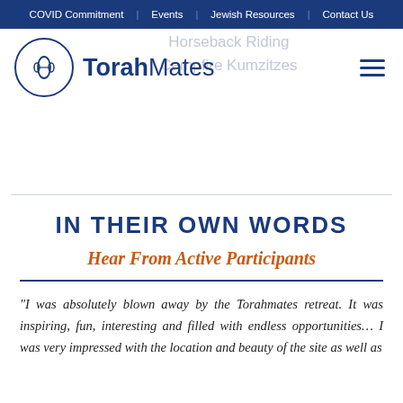COVID Commitment | Events | Jewish Resources | Contact Us
[Figure (logo): TorahMates logo with circular emblem on left and bold text 'TorahMates' on the right. Faded background text reads 'Horseback Riding' and 'Campfire Kumzitzes'. Hamburger menu icon on the far right.]
IN THEIR OWN WORDS
Hear From Active Participants
"I was absolutely blown away by the Torahmates retreat. It was inspiring, fun, interesting and filled with endless opportunities… I was very impressed with the location and beauty of the site as well as